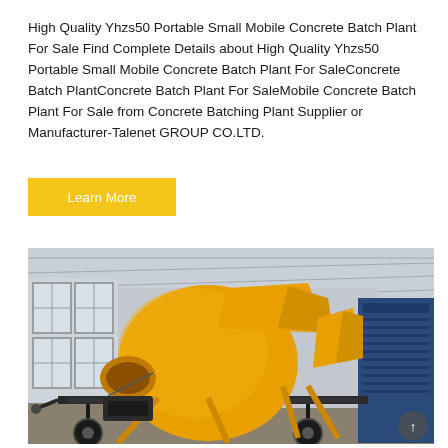High Quality Yhzs50 Portable Small Mobile Concrete Batch Plant For Sale Find Complete Details about High Quality Yhzs50 Portable Small Mobile Concrete Batch Plant For SaleConcrete Batch PlantConcrete Batch Plant For SaleMobile Concrete Batch Plant For Sale from Concrete Batching Plant Supplier or Manufacturer-Talenet GROUP CO.LTD.
Learn More
[Figure (photo): A yellow mobile concrete batch mixer mounted on a wheeled trailer frame, photographed inside an industrial warehouse with large windows and a corrugated metal roof. Additional blue industrial equipment visible on the right side.]